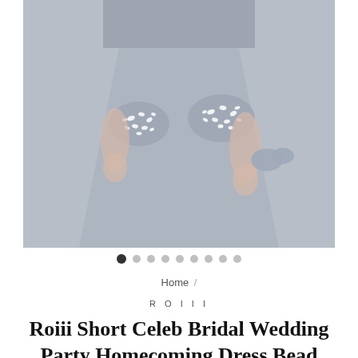[Figure (photo): A model wearing a short gray/silver satin A-line dress with crystal/bead embellishments on the pockets. The dress has a flared skirt and the photo is cropped to show the torso and skirt area.]
Home /
ROIII
Roiii Short Celeb Bridal Wedding Party Homecoming Dress Bead